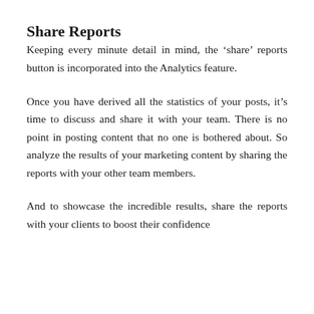Share Reports
Keeping every minute detail in mind, the ‘share’ reports button is incorporated into the Analytics feature.
Once you have derived all the statistics of your posts, it’s time to discuss and share it with your team. There is no point in posting content that no one is bothered about. So analyze the results of your marketing content by sharing the reports with your other team members.
And to showcase the incredible results, share the reports with your clients to boost their confidence